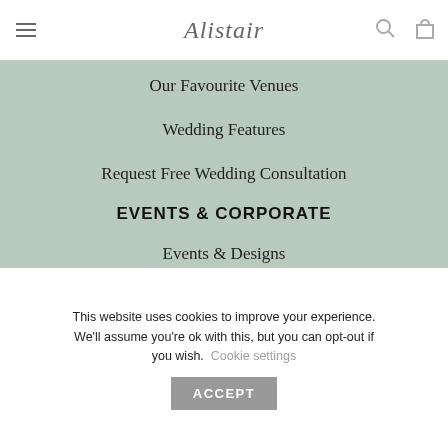Alistair
Our Favourite Venues
Wedding Features
Request Free Wedding Consultation
EVENTS & CORPORATE
Events & Designs
Our clients
Features
This website uses cookies to improve your experience. We'll assume you're ok with this, but you can opt-out if you wish. Cookie settings ACCEPT